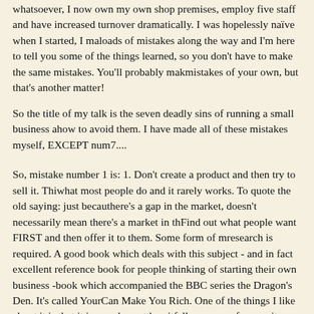whatsoever, I now own my own shop premises, employ five staff and have increased turnover dramatically. I was hopelessly naïve when I started, I made loads of mistakes along the way and I'm here to tell you some of the things I learned, so you don't have to make the same mistakes. You'll probably make mistakes of your own, but that's another matter!
So the title of my talk is the seven deadly sins of running a small business and how to avoid them. I have made all of these mistakes myself, EXCEPT number 7....
So, mistake number 1 is: 1. Don't create a product and then try to sell it. This is what most people do and it rarely works. To quote the old saying: just because there's a gap in the market, doesn't necessarily mean there's a market in the gap. Find out what people want FIRST and then offer it to them. Some form of market research is required. A good book which deals with this subject - and in fact is an excellent reference book for people thinking of starting their own business - is the book which accompanied the BBC series the Dragon's Den. It's called Your Idea Can Make You Rich. One of the things I like about it is that it is very honest about the pitfalls you may face; as it admits, it should be subtitled Your Idea Can Also Make You Very Poor. However, it covers all the basics, and more. So, back to market research: with the Internet, it's now very easy to find what people are looking for. You can look for a market or group of people who are already searching the Internet for a particular product or service first, then create a